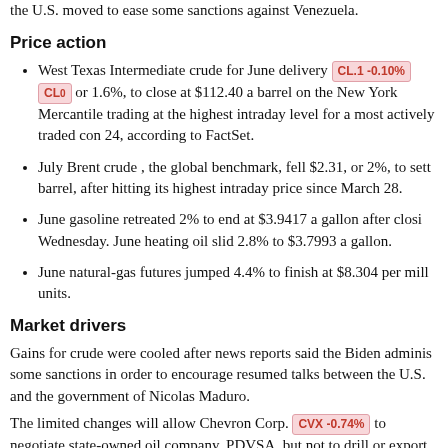the U.S. moved to ease some sanctions against Venezuela.
Price action
West Texas Intermediate crude for June delivery CL.1 -0.10% CLO... or 1.6%, to close at $112.40 a barrel on the New York Mercantile... trading at the highest intraday level for a most actively traded con... 24, according to FactSet.
July Brent crude , the global benchmark, fell $2.31, or 2%, to sett... barrel, after hitting its highest intraday price since March 28.
June gasoline retreated 2% to end at $3.9417 a gallon after closi... Wednesday. June heating oil slid 2.8% to $3.7993 a gallon.
June natural-gas futures jumped 4.4% to finish at $8.304 per mill... units.
Market drivers
Gains for crude were cooled after news reports said the Biden adminis... some sanctions in order to encourage resumed talks between the U.S... and the government of Nicolas Maduro.
The limited changes will allow Chevron Corp. CVX -0.74% to negotiate... state-owned oil company, PDVSA, but not to drill or export any petro...